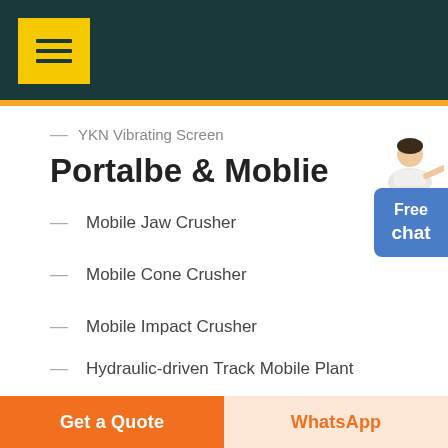YKN Vibrating Screen
Portalbe & Moblie
Mobile Jaw Crusher
Mobile Cone Crusher
Mobile Impact Crusher
Hydraulic-driven Track Mobile Plant
K Series Mobile Crushing Plant
Get a Quote | WhatsApp